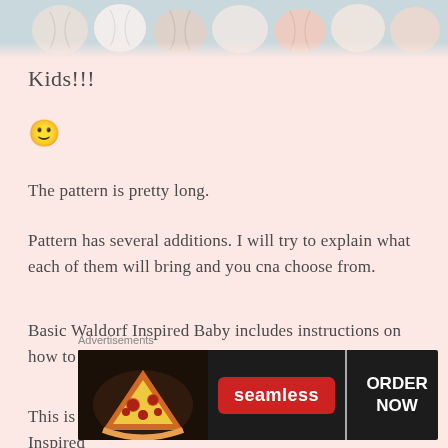[Figure (photo): Top portion of a photo showing crocheted items (balls/toys) in pastel colors on a light background, partially cropped at the top of the page]
Kids!!!
🙂
The pattern is pretty long.
Pattern has several additions. I will try to explain what each of them will bring and you cna choose from.
Basic Waldorf Inspired Baby includes instructions on how to crochet baby's body from head to toe.
This is what you will get with the basic Walsdorf Inspired
Advertisements
[Figure (screenshot): Seamless food delivery advertisement banner with pizza image on the left, Seamless logo in red in the center, and 'ORDER NOW' button on the right, on a dark background]